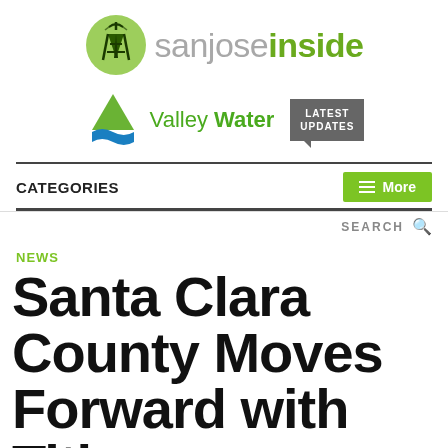[Figure (logo): San Jose Inside website logo with broadcast tower icon and text 'sanjoseinside' in gray and green]
[Figure (logo): Valley Water logo with green triangle and blue wave icon, text 'Valley Water', and a gray 'Latest Updates' speech bubble button]
CATEGORIES   More
SEARCH
NEWS
Santa Clara County Moves Forward with Title